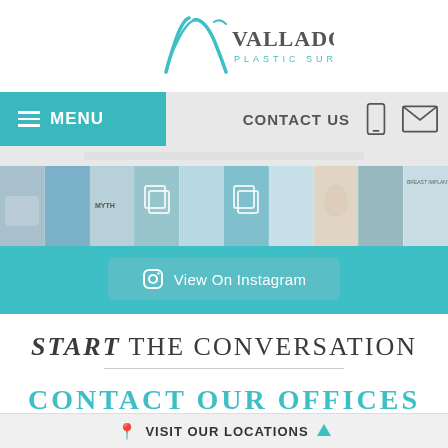[Figure (logo): Valladolid Plastic Surgery logo with teal V-shaped swoosh and text]
MENU | CONTACT US
[Figure (photo): Instagram grid of 10 thumbnail images related to plastic surgery]
View On Instagram
START the conversation
CONTACT OUR OFFICES TODAY
VISIT OUR LOCATIONS